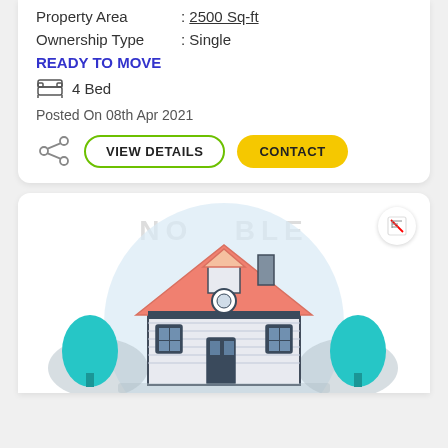Property Area : 2500 Sq-ft
Ownership Type : Single
READY TO MOVE
4 Bed
Posted On 08th Apr 2021
[Figure (illustration): House illustration with teal trees, salmon/orange roof, white siding, chimney, circular window, and a no-image-available badge overlay. Watermark text 'NO AVAILABLE' visible.]